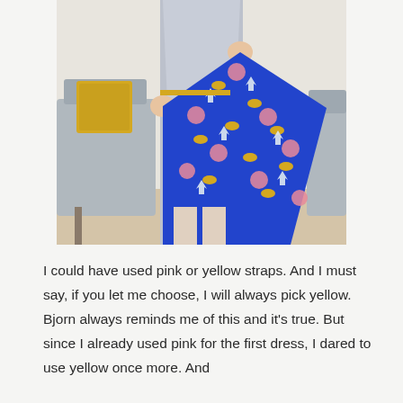[Figure (photo): A person wearing a light grey sleeveless dress holds up the skirt hem to reveal a patterned inner lining fabric with a bold blue background featuring yellow, pink, and white floral and leaf motifs. Yellow straps are visible at the waist. A grey couch with a yellow pillow is in the background on a wooden floor.]
I could have used pink or yellow straps. And I must say, if you let me choose, I will always pick yellow. Bjorn always reminds me of this and it's true. But since I already used pink for the first dress, I dared to use yellow once more. And